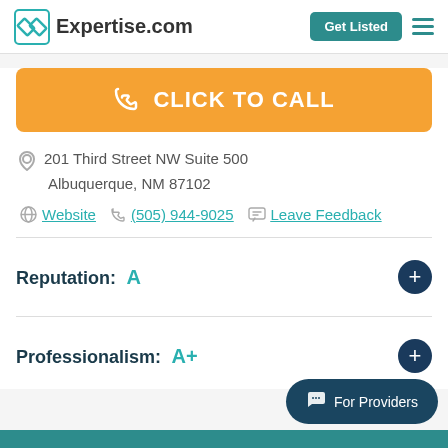Expertise.com | Get Listed
[Figure (screenshot): Orange 'CLICK TO CALL' button with phone icon]
201 Third Street NW Suite 500
Albuquerque, NM 87102
Website  (505) 944-9025  Leave Feedback
Reputation: A
Professionalism: A+
For Providers